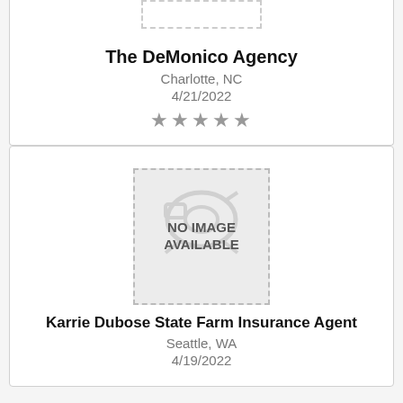[Figure (other): Placeholder image box with dashed border at top of first card (partially visible)]
The DeMonico Agency
Charlotte, NC
4/21/2022
[Figure (other): NO IMAGE AVAILABLE placeholder with dashed border and camera icon in background]
Karrie Dubose State Farm Insurance Agent
Seattle, WA
4/19/2022